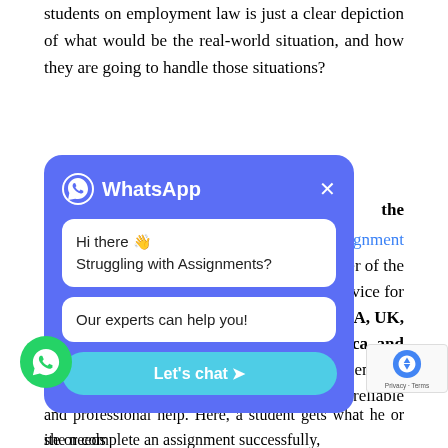students on employment law is just a clear depiction of what would be the real-world situation, and how they are going to handle those situations?
[Figure (screenshot): WhatsApp chat popup widget with blue background. Header shows WhatsApp logo and title 'WhatsApp' with an X close button. Two white chat bubbles: first says 'Hi there 👋 Struggling with Assignments?', second says 'Our experts can help you!'. A teal 'Let's chat ➤' button at the bottom.]
the
ized assignment
nd corner of the
riting service for
lar in USA, UK,
outh Africa, and
mployment law
Essay for reliable
and professional help. Here, a student gets what he or she needs
ite or complete an assignment successfully,
ing ones:
[Figure (screenshot): WhatsApp floating green circle icon at bottom left.]
[Figure (screenshot): reCAPTCHA badge at bottom right showing Google reCAPTCHA logo and Privacy - Terms text.]